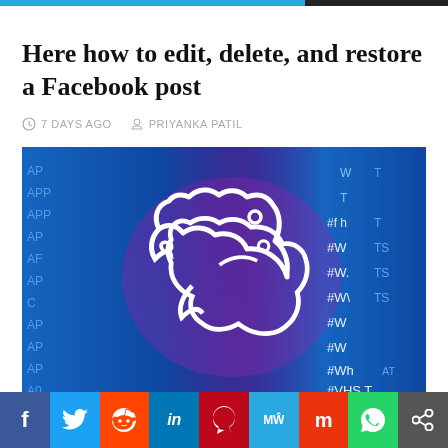Here how to edit, delete, and restore a Facebook post
7 DAYS AGO   PRIYANKA PATIL
[Figure (photo): Blue background with white Twitter bird logo outline; left side shows repeating 'APP' text in blue; right side shows hashtag '#WHAT' text patterns in white on dark blue]
Facebook Twitter Reddit LinkedIn Pinterest MW Mix WhatsApp Share